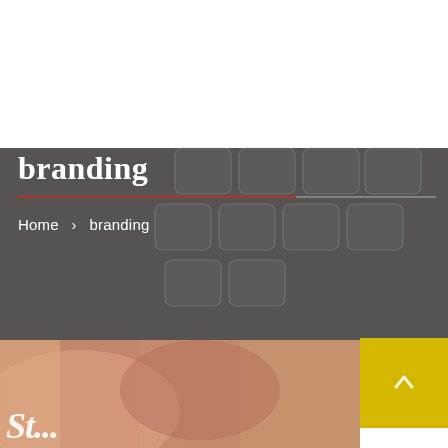[Figure (photo): Hero banner with dark grey overlay showing a keyboard in the background]
branding
Home > branding
[Figure (photo): Blurred warm-toned photo of hands, partially visible at bottom of page with large italic white text beginning]
[Figure (other): Yellow/gold square button with upward chevron arrow (scroll-to-top button)]